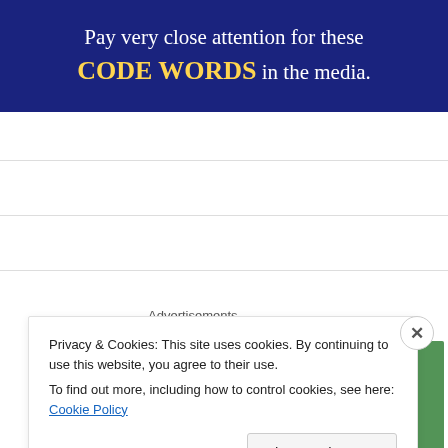[Figure (infographic): Dark blue banner with white text: 'Pay very close attention for these CODE WORDS in the media.' CODE WORDS is in bold yellow.]
[Figure (infographic): Green Jetpack advertisement banner with logo and text 'Like an undo' at the bottom.]
Advertisements
Privacy & Cookies: This site uses cookies. By continuing to use this website, you agree to their use.
To find out more, including how to control cookies, see here: Cookie Policy
Close and accept